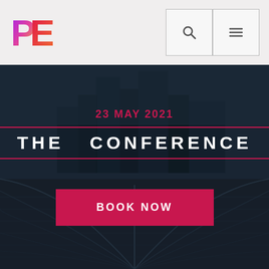[Figure (logo): PE logo with pink and yellow gradient P and pink-orange E letters]
[Figure (screenshot): Navigation bar with search icon and hamburger menu icon buttons]
[Figure (photo): Dark hero background with abstract curved rail tracks and city skyline silhouette]
23 MAY 2021
THE  CONFERENCE
BOOK NOW